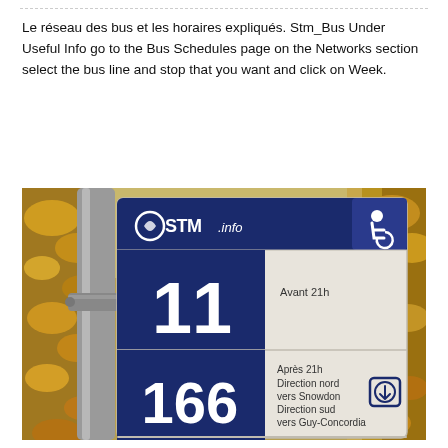Le réseau des bus et les horaires expliqués. Stm_Bus Under Useful Info go to the Bus Schedules page on the Networks section select the bus line and stop that you want and click on Week.
[Figure (photo): Photo of an STM bus stop sign mounted on a pole, showing STM.info logo with wheelchair accessibility symbol. The sign shows bus line 11 (Avant 21h) and bus line 166 (Après 21h, Direction nord vers Snowdon, Direction sud vers Guy-Concordia) with a down-arrow symbol. Background shows autumn yellow/orange leaves.]